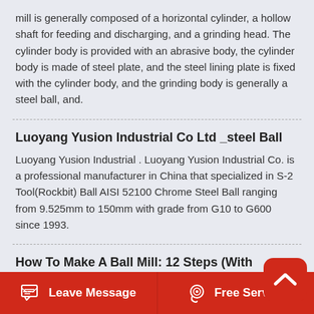mill is generally composed of a horizontal cylinder, a hollow shaft for feeding and discharging, and a grinding head. The cylinder body is provided with an abrasive body, the cylinder body is made of steel plate, and the steel lining plate is fixed with the cylinder body, and the grinding body is generally a steel ball, and.
Luoyang Yusion Industrial Co Ltd _steel Ball
Luoyang Yusion Industrial . Luoyang Yusion Industrial Co. is a professional manufacturer in China that specialized in S-2 Tool(Rockbit) Ball AISI 52100 Chrome Steel Ball ranging from 9.525mm to 150mm with grade from G10 to G600 since 1993.
How To Make A Ball Mill: 12 Steps (With Pictures) Wikihow
Leave Message   Free Service